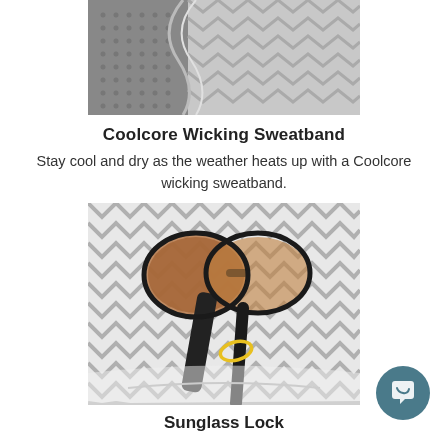[Figure (photo): Close-up photo of grey fabric with zigzag/chevron pattern and textured mesh material showing a Coolcore wicking sweatband material]
Coolcore Wicking Sweatband
Stay cool and dry as the weather heats up with a Coolcore wicking sweatband.
[Figure (photo): Photo of sunglasses with dark frames resting inside a hat with grey and white chevron/zigzag patterned interior lining, with a small yellow logo visible]
Sunglass Lock